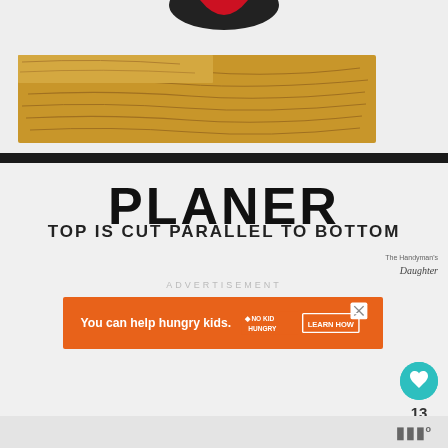[Figure (illustration): Illustration showing a wood planer tool with a wooden plank. The plank has visible wood grain lines. A black bar separates the illustration from the label below. Partial view of a planer blade/tool at top.]
PLANER
TOP IS CUT PARALLEL TO BOTTOM
ADVERTISEMENT
[Figure (other): Orange advertisement banner: 'You can help hungry kids. NO KID HUNGRY LEARN HOW' with close button]
13